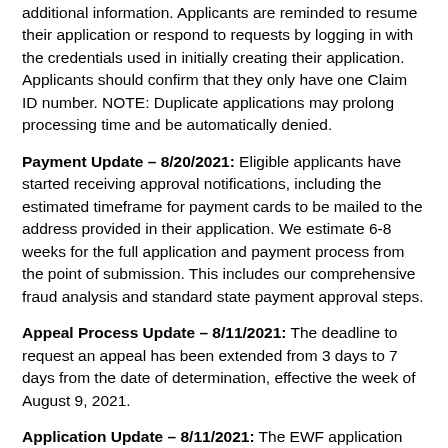additional information. Applicants are reminded to resume their application or respond to requests by logging in with the credentials used in initially creating their application. Applicants should confirm that they only have one Claim ID number. NOTE: Duplicate applications may prolong processing time and be automatically denied.
Payment Update – 8/20/2021: Eligible applicants have started receiving approval notifications, including the estimated timeframe for payment cards to be mailed to the address provided in their application. We estimate 6-8 weeks for the full application and payment process from the point of submission. This includes our comprehensive fraud analysis and standard state payment approval steps.
Appeal Process Update – 8/11/2021: The deadline to request an appeal has been extended from 3 days to 7 days from the date of determination, effective the week of August 9, 2021.
Application Update – 8/11/2021: The EWF application was updated to allow applicants who filed NYS taxes in tax years 2018, 2019, or 2020 to enter Social Security numbers in the